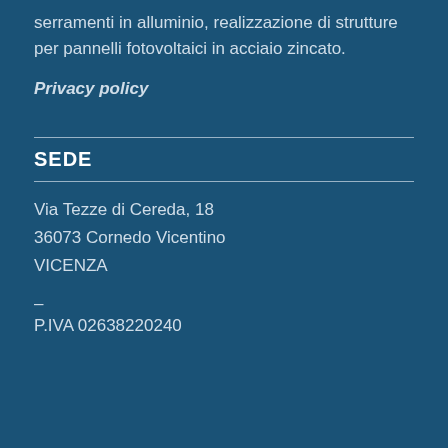serramenti in alluminio, realizzazione di strutture per pannelli fotovoltaici in acciaio zincato.
Privacy policy
SEDE
Via Tezze di Cereda, 18
36073 Cornedo Vicentino
VICENZA
–
P.IVA 02638220240